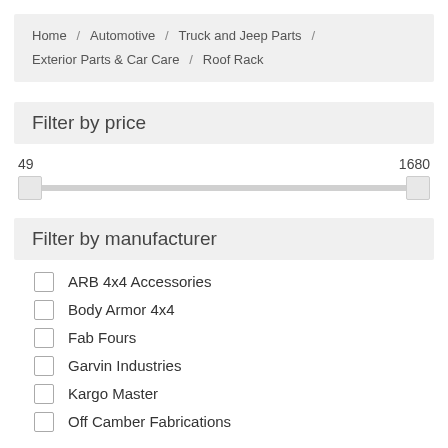Home / Automotive / Truck and Jeep Parts / Exterior Parts & Car Care / Roof Rack
Filter by price
49 ... 1680 (price range slider)
Filter by manufacturer
ARB 4x4 Accessories
Body Armor 4x4
Fab Fours
Garvin Industries
Kargo Master
Off Camber Fabrications